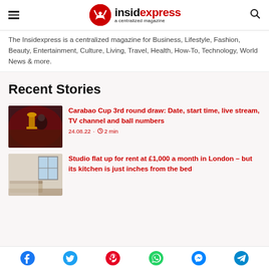insidexpress - a centralized magazine
The Insidexpress is a centralized magazine for Business, Lifestyle, Fashion, Beauty, Entertainment, Culture, Living, Travel, Health, How-To, Technology, World News & more.
Recent Stories
[Figure (photo): Sports trophy photo with crowd in background, red lighting]
Carabao Cup 3rd round draw: Date, start time, live stream, TV channel and ball numbers
24.08.22 · 2 min
[Figure (photo): Small studio flat interior showing bed and window]
Studio flat up for rent at £1,000 a month in London – but its kitchen is just inches from the bed